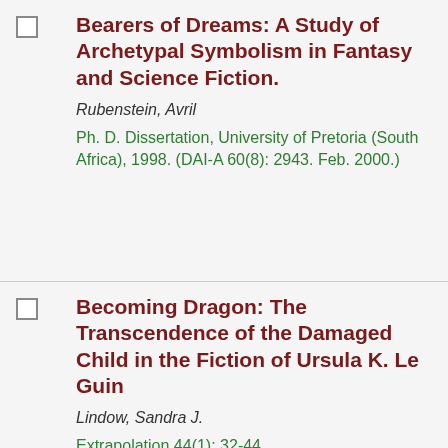Bearers of Dreams: A Study of Archetypal Symbolism in Fantasy and Science Fiction.
Rubenstein, Avril
Ph. D. Dissertation, University of Pretoria (South Africa), 1998. (DAI-A 60(8): 2943. Feb. 2000.)
Becoming Dragon: The Transcendence of the Damaged Child in the Fiction of Ursula K. Le Guin
Lindow, Sandra J.
Extrapolation 44(1): 32-44.